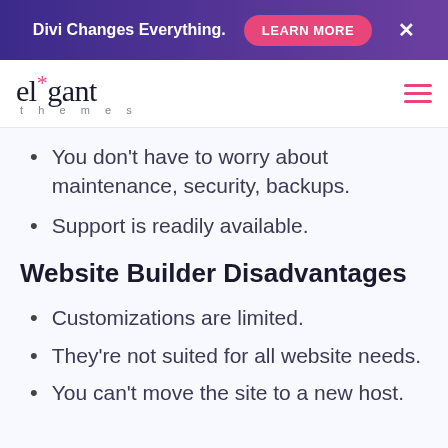Divi Changes Everything. LEARN MORE ✕
[Figure (logo): Elegant Themes logo with asterisk star and hamburger menu icon]
You don't have to worry about maintenance, security, backups.
Support is readily available.
Website Builder Disadvantages
Customizations are limited.
They're not suited for all website needs.
You can't move the site to a new host.